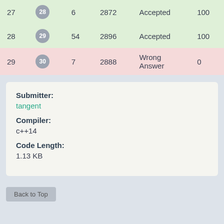| # | Test | Time | Memory | Verdict | Score |
| --- | --- | --- | --- | --- | --- |
| 27 | 28 | 6 | 2872 | Accepted | 100 |
| 28 | 29 | 54 | 2896 | Accepted | 100 |
| 29 | 30 | 7 | 2888 | Wrong Answer | 0 |
Submitter:
tangent
Compiler:
c++14
Code Length:
1.13 KB
Back to Top